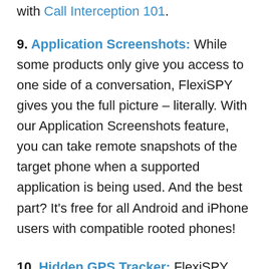with Call Interception 101.
9. Application Screenshots: While some products only give you access to one side of a conversation, FlexiSPY gives you the full picture – literally. With our Application Screenshots feature, you can take remote snapshots of the target phone when a supported application is being used. And the best part? It's free for all Android and iPhone users with compatible rooted phones!
10. Hidden GPS Tracker: FlexiSPY provides accurate real-time location tracking via...